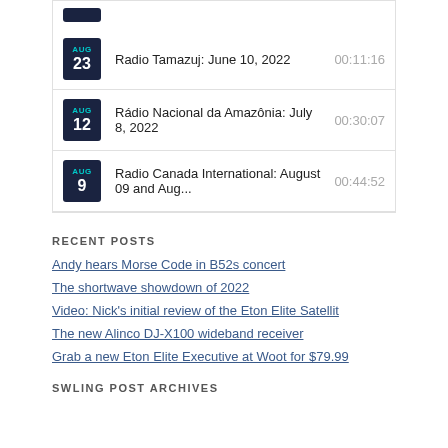Radio Tamazuj: June 10, 2022 — 00:11:16
Rádio Nacional da Amazônia: July 8, 2022 — 00:30:07
Radio Canada International: August 09 and Aug... — 00:44:52
RECENT POSTS
Andy hears Morse Code in B52s concert
The shortwave showdown of 2022
Video: Nick's initial review of the Eton Elite Satellit
The new Alinco DJ-X100 wideband receiver
Grab a new Eton Elite Executive at Woot for $79.99
SWLING POST ARCHIVES